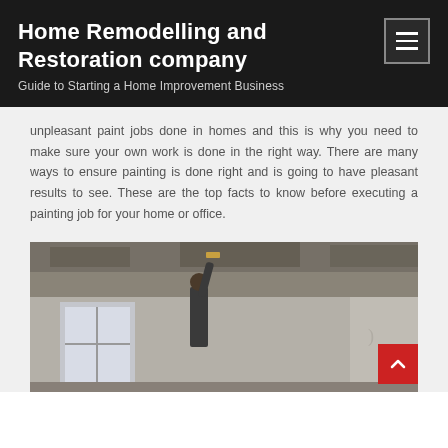Home Remodelling and Restoration company
Guide to Starting a Home Improvement Business
unpleasant paint jobs done in homes and this is why you need to make sure your own work is done in the right way. There are many ways to ensure painting is done right and is going to have pleasant results to see. These are the top facts to know before executing a painting job for your home or office.
[Figure (photo): A person painting or working on the ceiling/walls of a room under renovation, with a window visible in the background and unfinished walls and ceiling.]